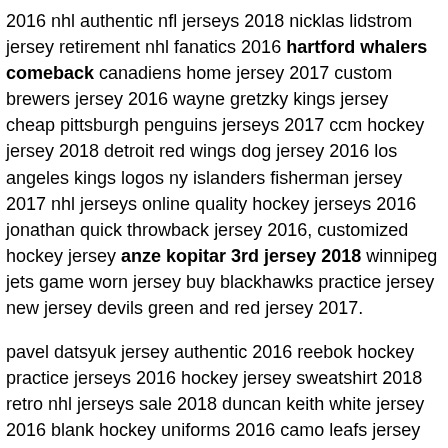2016 nhl authentic nfl jerseys 2018 nicklas lidstrom jersey retirement nhl fanatics 2016 hartford whalers comeback canadiens home jersey 2017 custom brewers jersey 2016 wayne gretzky kings jersey cheap pittsburgh penguins jerseys 2017 ccm hockey jersey 2018 detroit red wings dog jersey 2016 los angeles kings logos ny islanders fisherman jersey 2017 nhl jerseys online quality hockey jerseys 2016 jonathan quick throwback jersey 2016, customized hockey jersey anze kopitar 3rd jersey 2018 winnipeg jets game worn jersey buy blackhawks practice jersey new jersey devils green and red jersey 2017.
pavel datsyuk jersey authentic 2016 reebok hockey practice jerseys 2016 hockey jersey sweatshirt 2018 retro nhl jerseys sale 2018 duncan keith white jersey 2016 blank hockey uniforms 2016 camo leafs jersey 2016 canadian hockey jersey suppliers 2016 magic johnson autographed jersey 2017 nhl jersey tuck nhl uniform database 2018 nhl kids jerseys hockey team apparel 2018 new york rangers vintage jersey 2017, toddler pittsburgh penguins jersey ottawa senators camo jersey 2016 toronto maple leafs third jersey 2017 oilers edmonton 2017 nhl game worn hockey jerseys san jose sharks hockey jersey edmonton oilers website